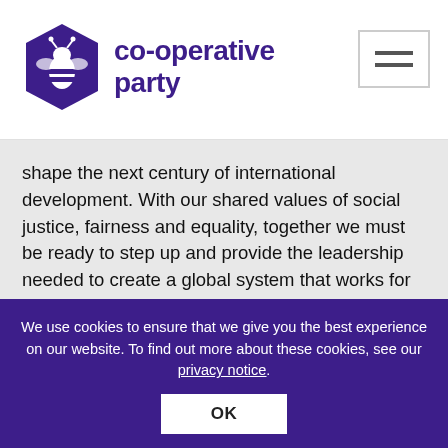[Figure (logo): Co-operative Party logo with purple hexagon bee icon and bold purple text reading 'co-operative party', plus a hamburger menu icon in the top right]
shape the next century of international development. With our shared values of social justice, fairness and equality, together we must be ready to step up and provide the leadership needed to create a global system that works for the many, not the few.
Spread the word
Can you share this with your friends?
We use cookies to ensure that we give you the best experience on our website. To find out more about these cookies, see our privacy notice.